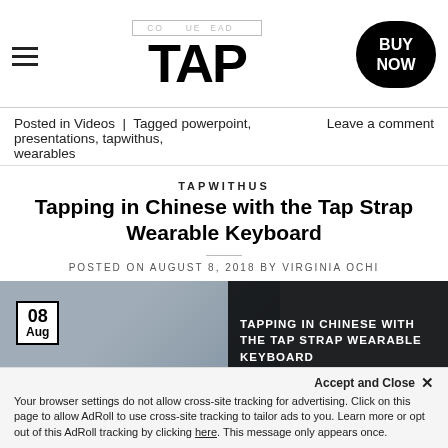TAP — BUY NOW
Posted in Videos | Tagged powerpoint, presentations, tapwithus, wearables   Leave a comment
TAPWITHUS
Tapping in Chinese with the Tap Strap Wearable Keyboard
POSTED ON AUGUST 8, 2018 BY VIRGINIA OCHI
[Figure (screenshot): Video thumbnail showing a person and overlay text: TAPPING IN CHINESE WITH THE TAP STRAP WEARABLE KEYBOARD, with a date badge showing 08 Aug]
Accept and Close ×
Your browser settings do not allow cross-site tracking for advertising. Click on this page to allow AdRoll to use cross-site tracking to tailor ads to you. Learn more or opt out of this AdRoll tracking by clicking here. This message only appears once.